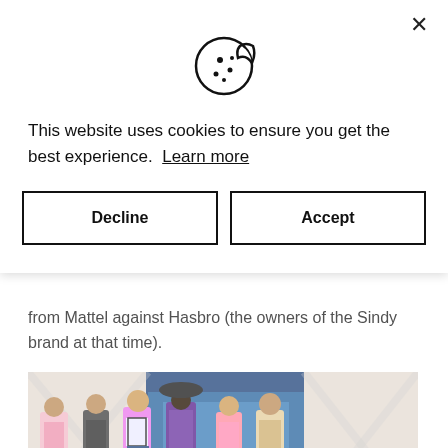[Figure (illustration): Cookie consent modal dialog with cookie icon at top, cookie notice text, Learn more link, and two buttons: Decline and Accept]
This website uses cookies to ensure you get the best experience. Learn more
from Mattel against Hasbro (the owners of the Sindy brand at that time).
[Figure (photo): Six fashion dolls (Sindy-style) displayed on a runway or exhibition stand, wearing various fashionable outfits including casual wear, a purple coat, and a trench coat]